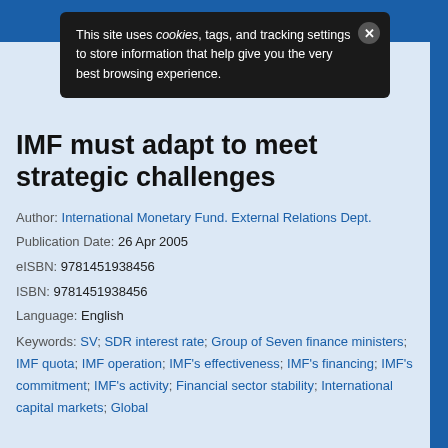This site uses cookies, tags, and tracking settings to store information that help give you the very best browsing experience.
IMF must adapt to meet strategic challenges
Author: International Monetary Fund. External Relations Dept.
Publication Date: 26 Apr 2005
eISBN: 9781451938456
ISBN: 9781451938456
Language: English
Keywords: SV; SDR interest rate; Group of Seven finance ministers; IMF quota; IMF operation; IMF's effectiveness; IMF's financing; IMF's commitment; IMF's activity; Financial sector stability; International capital markets; Global